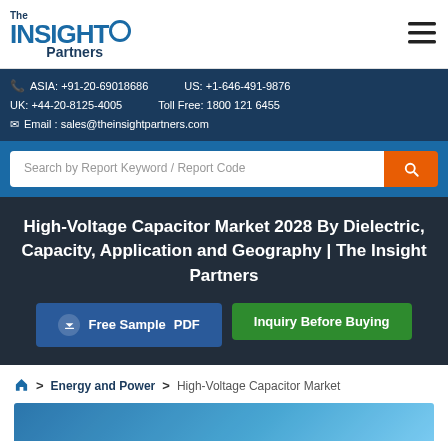The Insight Partners
ASIA: +91-20-69018686   US: +1-646-491-9876
UK: +44-20-8125-4005   Toll Free: 1800 121 6455
Email : sales@theinsightpartners.com
Search by Report Keyword / Report Code
High-Voltage Capacitor Market 2028 By Dielectric, Capacity, Application and Geography | The Insight Partners
Free Sample PDF
Inquiry Before Buying
Home > Energy and Power > High-Voltage Capacitor Market